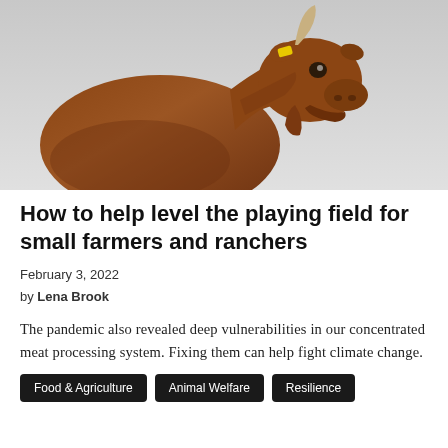[Figure (photo): A brown cow with a yellow ear tag and one horn, photographed in profile against a light grey background.]
How to help level the playing field for small farmers and ranchers
February 3, 2022
by Lena Brook
The pandemic also revealed deep vulnerabilities in our concentrated meat processing system. Fixing them can help fight climate change.
Food & Agriculture
Animal Welfare
Resilience